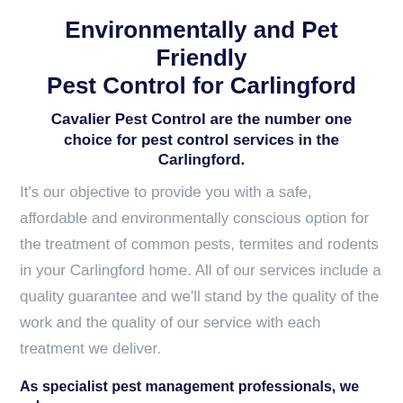Environmentally and Pet Friendly Pest Control for Carlingford
Cavalier Pest Control are the number one choice for pest control services in the Carlingford.
It's our objective to provide you with a safe, affordable and environmentally conscious option for the treatment of common pests, termites and rodents in your Carlingford home. All of our services include a quality guarantee and we'll stand by the quality of the work and the quality of our service with each treatment we deliver.
As specialist pest management professionals, we value: